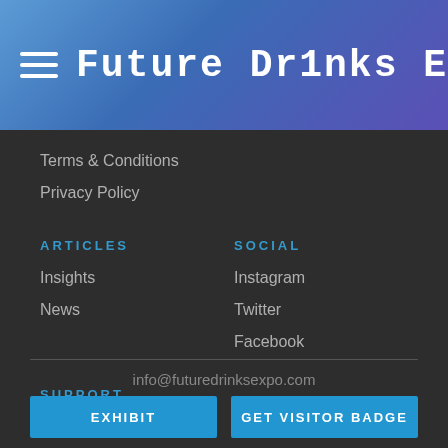Future Dr1nks Exp0
Terms & Conditions
Privacy Policy
ARTICLES
Insights
News
SOCIAL
Instagram
Twitter
Facebook
SUPPORT
Contact Us
Report a Bug
info@futuredrinksexpo.com
EXHIBIT
GET VISITOR BADGE